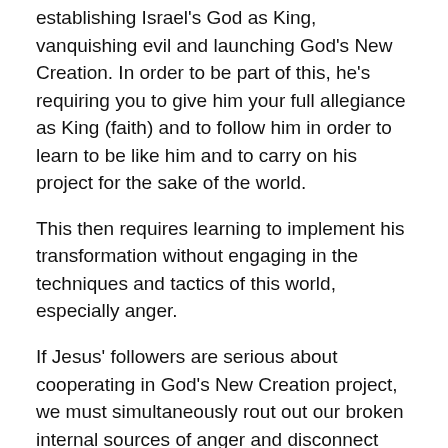establishing Israel's God as King, vanquishing evil and launching God's New Creation. In order to be part of this, he's requiring you to give him your full allegiance as King (faith) and to follow him in order to learn to be like him and to carry on his project for the sake of the world.
This then requires learning to implement his transformation without engaging in the techniques and tactics of this world, especially anger.
If Jesus' followers are serious about cooperating in God's New Creation project, we must simultaneously rout out our broken internal sources of anger and disconnect ourselves from external sources of anger. Frankly, based on just my Facebook feed, I think many of us need to take a long hiatus from politics.